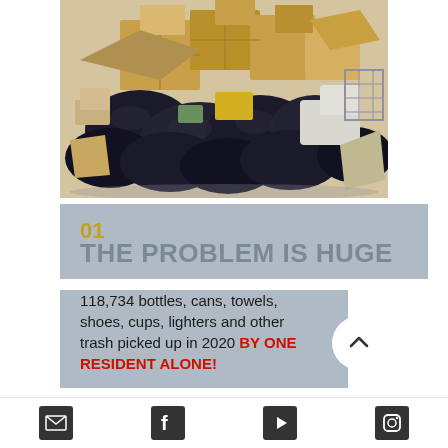[Figure (photo): Large pile of trash including cardboard boxes, black plastic garbage bags, shoes, and miscellaneous waste items outdoors]
01
THE PROBLEM IS HUGE
118,734 bottles, cans, towels, shoes, cups, lighters and other trash picked up in 2020 BY ONE RESIDENT ALONE!
[Figure (infographic): Social media footer icons: email envelope, Facebook, YouTube play button, Instagram]
Email | Facebook | YouTube | Instagram social media icons